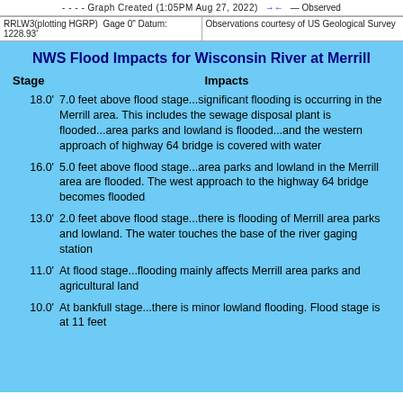---- Graph Created (1:05PM Aug 27, 2022) -+- Observed
RRLW3(plotting HGRP) Gage 0" Datum: 1228.93' | Observations courtesy of US Geological Survey
NWS Flood Impacts for Wisconsin River at Merrill
Stage    Impacts
18.0' 7.0 feet above flood stage...significant flooding is occurring in the Merrill area. This includes the sewage disposal plant is flooded...area parks and lowland is flooded...and the western approach of highway 64 bridge is covered with water
16.0' 5.0 feet above flood stage...area parks and lowland in the Merrill area are flooded. The west approach to the highway 64 bridge becomes flooded
13.0' 2.0 feet above flood stage...there is flooding of Merrill area parks and lowland. The water touches the base of the river gaging station
11.0' At flood stage...flooding mainly affects Merrill area parks and agricultural land
10.0' At bankfull stage...there is minor lowland flooding. Flood stage is at 11 feet